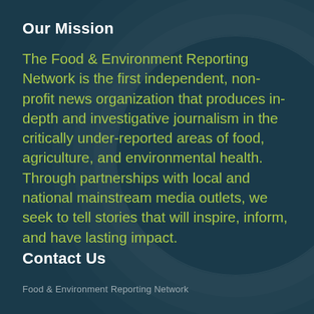Our Mission
The Food & Environment Reporting Network is the first independent, non-profit news organization that produces in-depth and investigative journalism in the critically under-reported areas of food, agriculture, and environmental health. Through partnerships with local and national mainstream media outlets, we seek to tell stories that will inspire, inform, and have lasting impact.
Contact Us
Food & Environment Reporting Network